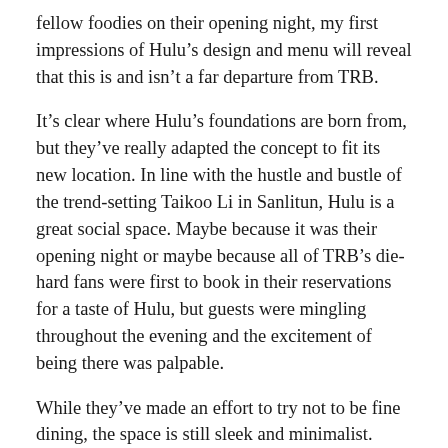fellow foodies on their opening night, my first impressions of Hulu’s design and menu will reveal that this is and isn’t a far departure from TRB.
It’s clear where Hulu’s foundations are born from, but they’ve really adapted the concept to fit its new location. In line with the hustle and bustle of the trend-setting Taikoo Li in Sanlitun, Hulu is a great social space. Maybe because it was their opening night or maybe because all of TRB’s die-hard fans were first to book in their reservations for a taste of Hulu, but guests were mingling throughout the evening and the excitement of being there was palpable.
While they’ve made an effort to try not to be fine dining, the space is still sleek and minimalist. Featuring high ceilings with hanging geometric light fixtures, I wouldn’t call Hulu casual by any means, but it’s certainly more relaxed and lively in comparison to TRB’s picture-perfect, formal fine dining establishments. I’m not sure the paper placemats match the